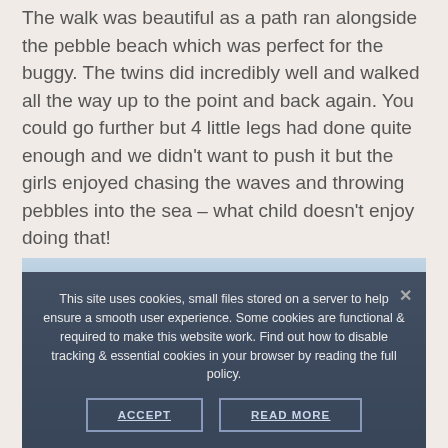The walk was beautiful as a path ran alongside the pebble beach which was perfect for the buggy. The twins did incredibly well and walked all the way up to the point and back again. You could go further but 4 little legs had done quite enough and we didn't want to push it but the girls enjoyed chasing the waves and throwing pebbles into the sea – what child doesn't enjoy doing that!
[Figure (photo): Partially visible outdoor/beach photo overlaid by a cookie consent banner]
This site uses cookies, small files stored on a server to help ensure a smooth user experience. Some cookies are functional & required to make this website work. Find out how to disable tracking & essential cookies in your browser by reading the full policy.
ACCEPT   READ MORE